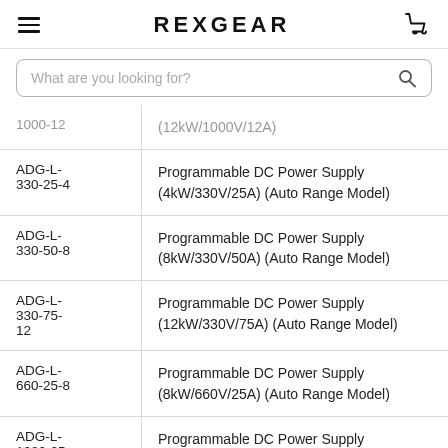REXGEAR
What are you looking for?
| Model | Description |
| --- | --- |
| 1000-12 (partial) | (12kW/1000V/12A) (partial) |
| ADG-L-330-25-4 | Programmable DC Power Supply (4kW/330V/25A) (Auto Range Model) |
| ADG-L-330-50-8 | Programmable DC Power Supply (8kW/330V/50A) (Auto Range Model) |
| ADG-L-330-75-12 | Programmable DC Power Supply (12kW/330V/75A) (Auto Range Model) |
| ADG-L-660-25-8 | Programmable DC Power Supply (8kW/660V/25A) (Auto Range Model) |
| ADG-L-1000-25 (partial) | Programmable DC Power Supply (12kW/1000V/25A) (Auto Ra... (partial) |